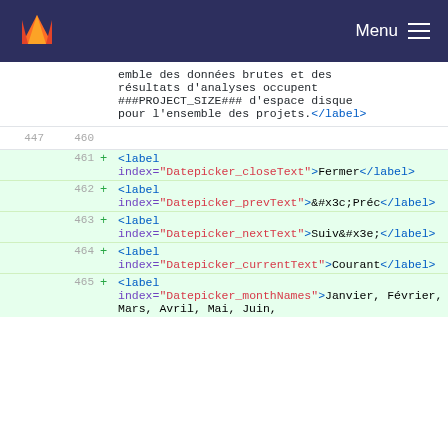GitLab — Menu
emble des données brutes et des résultats d'analyses occupent ###PROJECT_SIZE### d'espace disque pour l'ensemble des projets.</label>
447 460
461 + <label index="Datepicker_closeText">Fermer</label>
462 + <label index="Datepicker_prevText">&#x3c;Préc</label>
463 + <label index="Datepicker_nextText">Suiv&#x3e;</label>
464 + <label index="Datepicker_currentText">Courant</label>
465 + <label index="Datepicker_monthNames">Janvier, Février, Mars, Avril, Mai, Juin,